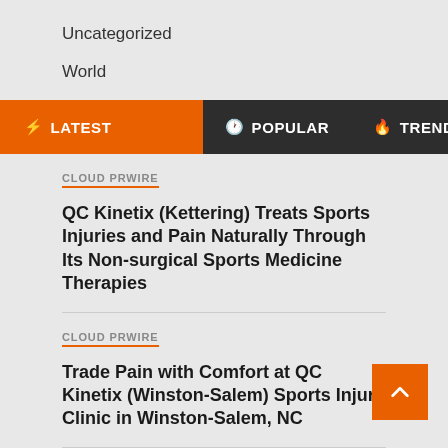Uncategorized
World
⚡ LATEST   🕐 POPULAR   🔥 TRENDING
CLOUD PRWIRE
QC Kinetix (Kettering) Treats Sports Injuries and Pain Naturally Through Its Non-surgical Sports Medicine Therapies
CLOUD PRWIRE
Trade Pain with Comfort at QC Kinetix (Winston-Salem) Sports Injury Clinic in Winston-Salem, NC
CLOUD PRWIRE